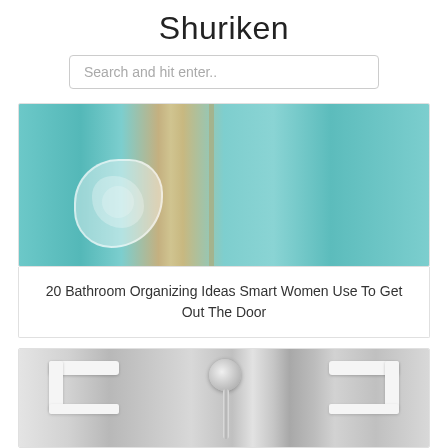Shuriken
Search and hit enter..
[Figure (photo): Close-up of a teal/aqua bathroom robe and fluffy towel hanging in a bathroom, with a glass shower door visible in the background]
20 Bathroom Organizing Ideas Smart Women Use To Get Out The Door
[Figure (photo): White shower shelf/caddy mounted in a gray tiled bathroom with a chrome shower head visible]